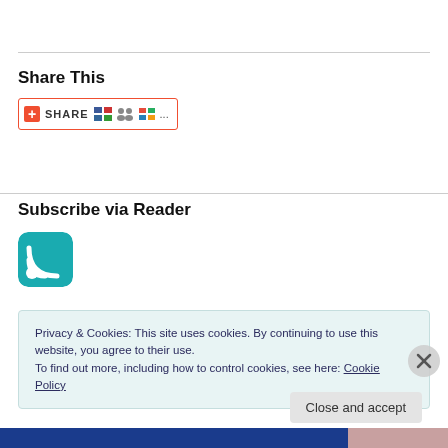Share This
[Figure (screenshot): Share This button with red plus icon, SHARE text, and social media icons (del.icio.us, Digg, Windows)]
Subscribe via Reader
[Figure (logo): RSS feed icon — teal rounded square with white RSS signal bars]
Privacy & Cookies: This site uses cookies. By continuing to use this website, you agree to their use.
To find out more, including how to control cookies, see here: Cookie Policy
Close and accept